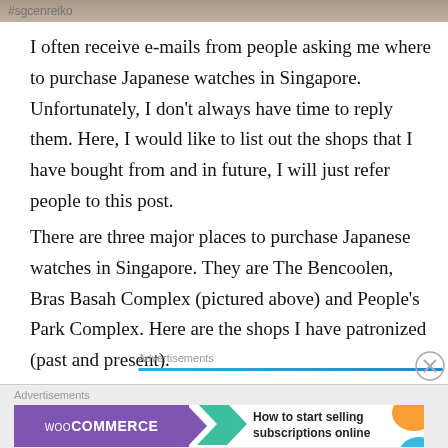[Figure (photo): Top partial image strip showing a storefront or sign, partially visible text at top]
I often receive e-mails from people asking me where to purchase Japanese watches in Singapore. Unfortunately, I don't always have time to reply them. Here, I would like to list out the shops that I have bought from and in future, I will just refer people to this post.
There are three major places to purchase Japanese watches in Singapore. They are The Bencoolen, Bras Basah Complex (pictured above) and People's Park Complex. Here are the shops I have patronized (past and present).
Advertisements
[Figure (screenshot): WooCommerce advertisement banner: purple background with WooCommerce logo and arrow, text 'How to start selling subscriptions online', with orange and blue decorative elements on the right]